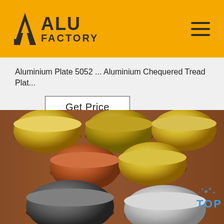ALU FACTORY
Aluminium Plate 5052 ... Aluminium Chequered Tread Plat...
Get Price
[Figure (photo): Multiple cylindrical aluminium/metal discs of various colors (gold, copper, silver, dark) arranged on a wooden table surface, with a blue 'TOP' watermark in the bottom right corner.]